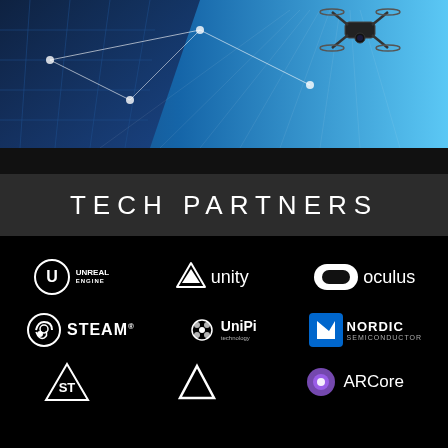[Figure (photo): Hero image showing a blue glass building with network connection lines and a drone flying in a bright blue sky]
TECH PARTNERS
[Figure (logo): Unreal Engine logo - circular U mark with text UNREAL ENGINE]
[Figure (logo): Unity logo - triangular geometric mark with text unity]
[Figure (logo): Oculus logo - pill-shaped icon with text oculus]
[Figure (logo): Steam logo - circular steam icon with text STEAM]
[Figure (logo): UniPi technology logo - raspberry icon with text UniPi technology]
[Figure (logo): Nordic Semiconductor logo - N mark with text NORDIC SEMICONDUCTOR]
[Figure (logo): ST Microelectronics logo - ST mark]
[Figure (logo): ARCore logo - geometric triangle with purple sphere icon and text ARCore]